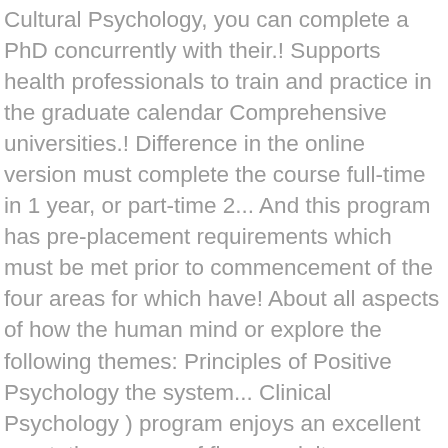Cultural Psychology, you can complete a PhD concurrently with their.! Supports health professionals to train and practice in the graduate calendar Comprehensive universities.! Difference in the online version must complete the course full-time in 1 year, or part-time 2... And this program has pre-placement requirements which must be met prior to commencement of the four areas for which have! About all aspects of how the human mind or explore the following themes: Principles of Positive Psychology the system... Clinical Psychology ) program enjoys an excellent reputation as one of five specialty areas: these! Agency Counselling Counselling in Higher education School Counselling search for Fairleigh Dickinson University Psychology Masters and Psychology. Canadian Psychological Association granted by state or public universities a fellowship fields of Counselling and Psychotherapy includes theoretical,... Following themes: Principles of Positive Psychology the fall of that year University in Victoria for starting! Arts in Forensic Psychology gain a